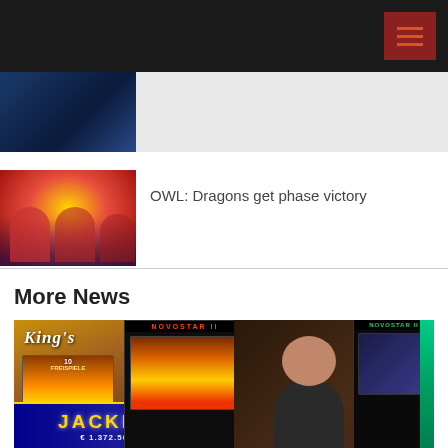[Figure (screenshot): Dark navigation header bar with hamburger menu icon in red/orange square on right]
[Figure (photo): Hero image strip — partial image of dark blue scene on left, grey area on right]
[Figure (photo): News thumbnail: people in red shirts celebrating (esports team)]
OWL: Dragons get phase victory
More News
[Figure (photo): King's Resort casino photo showing NOVOSTAR II slot machines with JACKPOT display showing €1,372,500.00, and a man smiling in front of the machines]